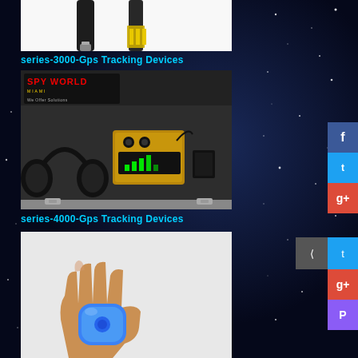[Figure (photo): Partial view of spy/tracking devices on white background - pen-shaped device and USB device visible at top]
series-3000-Gps Tracking Devices
[Figure (photo): Spy World Miami branded aluminum carrying case open showing headphones, recording/tracking device unit with gold casing, and other spy equipment. Logo reads 'SPY WORLD MIAMI - We Offer Solutions']
series-4000-Gps Tracking Devices
[Figure (photo): A hand holding a small blue rounded GPS tracking device]